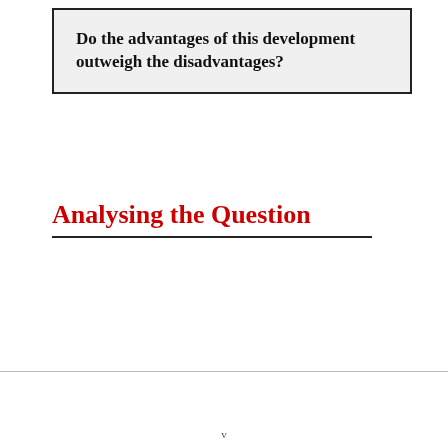Do the advantages of this development outweigh the disadvantages?
Analysing the Question
v